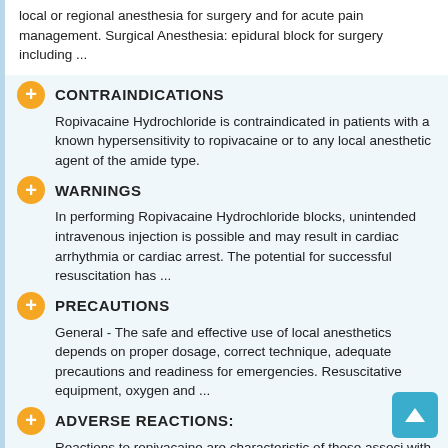local or regional anesthesia for surgery and for acute pain management. Surgical Anesthesia: epidural block for surgery including ...
CONTRAINDICATIONS
Ropivacaine Hydrochloride is contraindicated in patients with a known hypersensitivity to ropivacaine or to any local anesthetic agent of the amide type.
WARNINGS
In performing Ropivacaine Hydrochloride blocks, unintended intravenous injection is possible and may result in cardiac arrhythmia or cardiac arrest. The potential for successful resuscitation has ...
PRECAUTIONS
General - The safe and effective use of local anesthetics depends on proper dosage, correct technique, adequate precautions and readiness for emergencies. Resuscitative equipment, oxygen and ...
ADVERSE REACTIONS:
Reactions to ropivacaine are characteristic of those associated with other amide-type local anesthetics. A major cause of